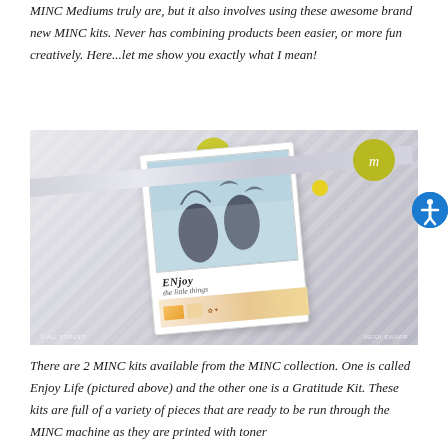MINC Mediums truly are, but it also involves using these awesome brand new MINC kits.  Never has combining products been easier, or more fun creatively.  Here...let me show you exactly what I mean!
[Figure (photo): Photo of an Enjoy Life MINC kit product box with a foil machine bar across it, showing the kit packaging with a card containing silhouette artwork, gold circle stickers with a stylized 'm' logo, and a bottom strip with embellishments. Watermarks visible at bottom left and right corners.]
There are 2 MINC kits available from the MINC collection.  One is called Enjoy Life (pictured above) and the other one is a Gratitude Kit.  These kits are full of a variety of pieces that are ready to be run through the MINC machine as they are printed with toner